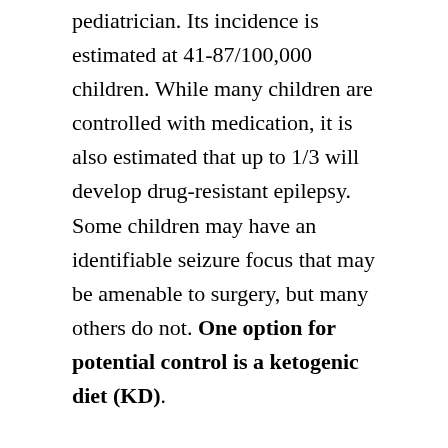pediatrician. Its incidence is estimated at 41-87/100,000 children. While many children are controlled with medication, it is also estimated that up to 1/3 will develop drug-resistant epilepsy. Some children may have an identifiable seizure focus that may be amenable to surgery, but many others do not. One option for potential control is a ketogenic diet (KD).
Indications for KD usually are for drug-resistant epilepsy including partial and complex seizure patterns as well as some metabolic disorders such as glucose transport 1 deficiency syndrome. It has also found to be useful for some epileptic encephalopathies such as Doose, Dravet, Lennox-Gastaut, Ohthahara and West syndromes. KD is contraindicated in other conditions such as primary carnitine deficiency and other carnitine